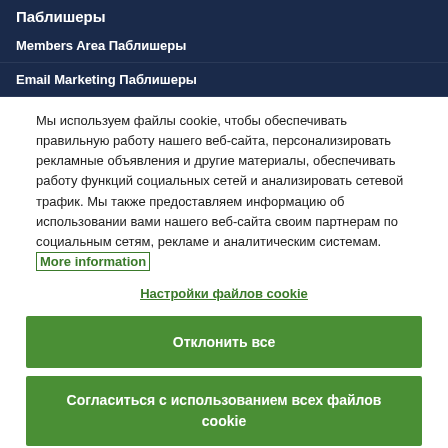Паблишеры
Members Area Паблишеры
Email Marketing Паблишеры
Мы используем файлы cookie, чтобы обеспечивать правильную работу нашего веб-сайта, персонализировать рекламные объявления и другие материалы, обеспечивать работу функций социальных сетей и анализировать сетевой трафик. Мы также предоставляем информацию об использовании вами нашего веб-сайта своим партнерам по социальным сетям, рекламе и аналитическим системам. More information
Настройки файлов cookie
Отклонить все
Согласиться с использованием всех файлов cookie